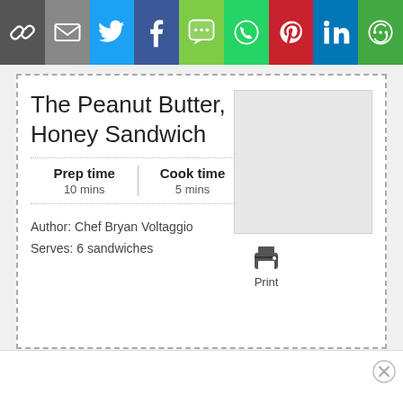[Figure (other): Social sharing bar with icons: link, email, Twitter, Facebook, SMS, WhatsApp, Pinterest, LinkedIn, More]
The Peanut Butter, Banana and Honey Sandwich
| Prep time | Cook time | Total time |
| --- | --- | --- |
| 10 mins | 5 mins | 15 mins |
Author: Chef Bryan Voltaggio
Serves: 6 sandwiches
[Figure (other): Gray image placeholder box]
[Figure (other): Print button with printer icon and Print label]